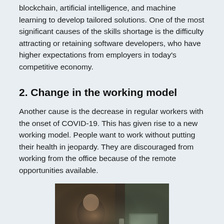blockchain, artificial intelligence, and machine learning to develop tailored solutions. One of the most significant causes of the skills shortage is the difficulty attracting or retaining software developers, who have higher expectations from employers in today's competitive economy.
2. Change in the working model
Another cause is the decrease in regular workers with the onset of COVID-19. This has given rise to a new working model. People want to work without putting their health in jeopardy. They are discouraged from working from the office because of the remote opportunities available.
[Figure (photo): A man in a black sweater sitting at a desk working on a laptop, with plants and items on the desk in the background, suggesting a home or remote work setting.]